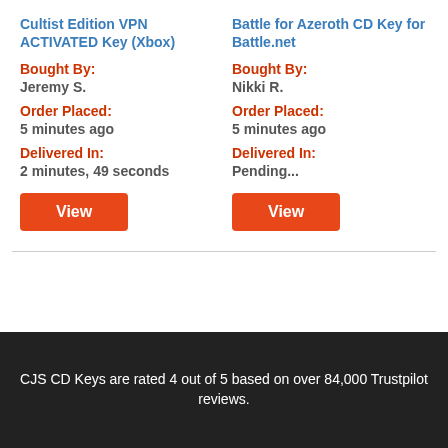Cultist Edition VPN ACTIVATED Key (Xbox)
Bought By:
Jeremy S.
Order Placed:
5 minutes ago
Delivered In:
2 minutes, 49 seconds
Battle for Azeroth CD Key for Battle.net
Bought By:
Nikki R.
Order Placed:
5 minutes ago
Delivered In:
Pending...
CJS CD Keys are rated 4 out of 5 based on over 84,000 Trustpilot reviews.